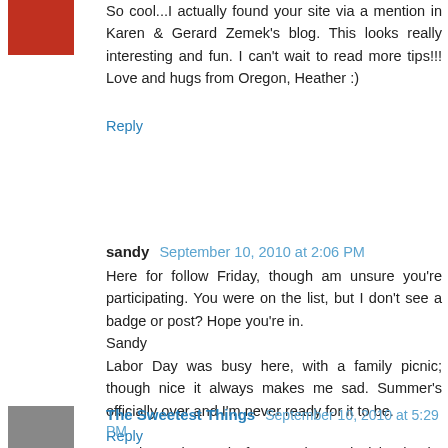So cool...I actually found your site via a mention in Karen & Gerard Zemek's blog. This looks really interesting and fun. I can't wait to read more tips!!! Love and hugs from Oregon, Heather :)
Reply
sandy  September 10, 2010 at 2:06 PM
Here for follow Friday, though am unsure you're participating. You were on the list, but I don't see a badge or post? Hope you're in.
Sandy
Labor Day was busy here, with a family picnic; though nice it always makes me sad. Summer's officially over and I'm never ready for it to be.
Reply
The Sweetest Things  September 10, 2010 at 5:29 PM
I'm always in need of HTML tips and tricks thanks for the help.